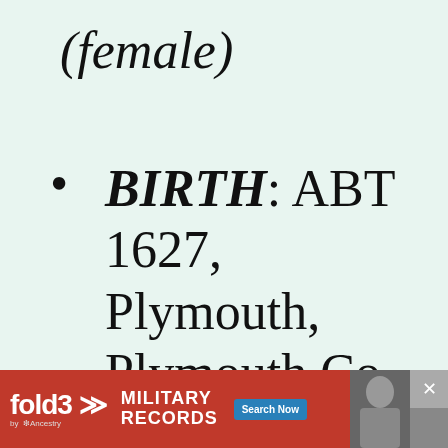(female)
BIRTH: ABT 1627, Plymouth, Plymouth Co, MA [13056]
[Figure (infographic): Fold3 by Ancestry advertisement banner. Red background with 'fold3' logo with chevron icons, text 'MILITARY RECORDS', blue 'Search Now' button, and a soldier photograph on the right. Gray close button with X in top-right corner.]